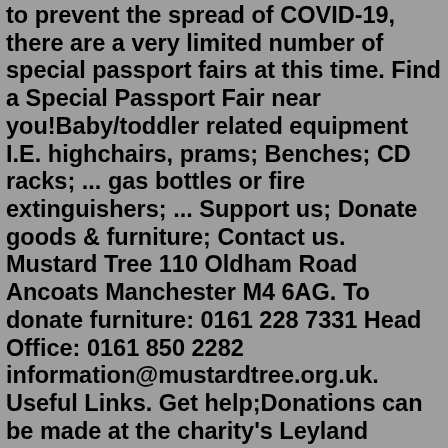to prevent the spread of COVID-19, there are a very limited number of special passport fairs at this time. Find a Special Passport Fair near you!Baby/toddler related equipment I.E. highchairs, prams; Benches; CD racks; ... gas bottles or fire extinguishers; ... Support us; Donate goods & furniture; Contact us. Mustard Tree 110 Oldham Road Ancoats Manchester M4 6AG. To donate furniture: 0161 228 7331 Head Office: 0161 850 2282 information@mustardtree.org.uk. Useful Links. Get help;Donations can be made at the charity's Leyland office, a private address in Fulwood, Penwortham and Cleveleys, Artisans that Create in Tarleton, The Kinder Hub in Cottam and The WOW Centre in Chorley.2. Put lids and caps back on - this reduces the chance of them getting lost during the sorting process as they can be recycled separately. 3. Corks should be removed from bottles before they are recycled but can be home composted. 4. At bottle banks, blue glass goes in with green glass. 5.As part of our charity scheme we collect and recycle milk bottle tops for the